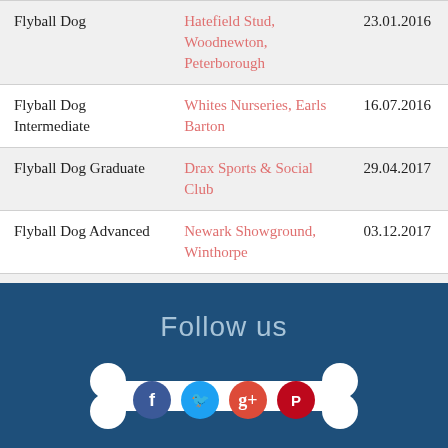| Achievement | Venue | Date |
| --- | --- | --- |
| Flyball Dog | Hatefield Stud, Woodnewton, Peterborough | 23.01.2016 |
| Flyball Dog Intermediate | Whites Nurseries, Earls Barton | 16.07.2016 |
| Flyball Dog Graduate | Drax Sports & Social Club | 29.04.2017 |
| Flyball Dog Advanced | Newark Showground, Winthorpe | 03.12.2017 |
| Flyball Dog Silver | Newark Showground, Winthorpe - Ring 2 Block | 24.03.2019 |
Follow us